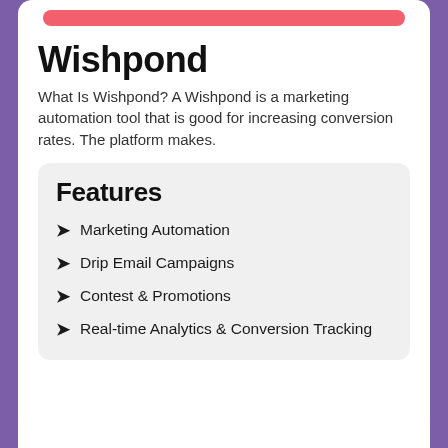Wishpond
What Is Wishpond? A Wishpond is a marketing automation tool that is good for increasing conversion rates. The platform makes.
Features
Marketing Automation
Drip Email Campaigns
Contest & Promotions
Real-time Analytics & Conversion Tracking